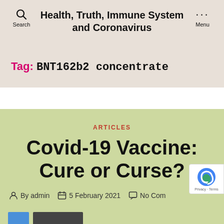Health, Truth, Immune System and Coronavirus
Tag: BNT162b2 concentrate
ARTICLES
Covid-19 Vaccine: Cure or Curse?
By admin   5 February 2021   No Comments